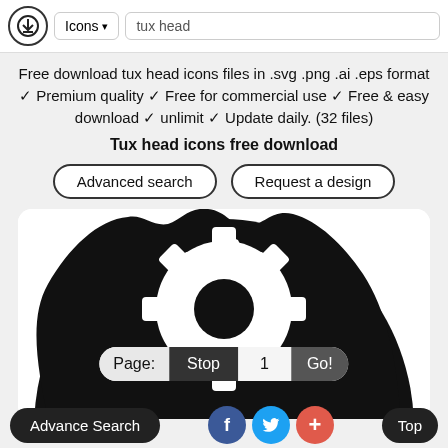Icons ▾  tux head
Free download tux head icons files in .svg .png .ai .eps format ✓ Premium quality ✓ Free for commercial use ✓ Free & easy download ✓ unlimit ✓ Update daily. (32 files)
Tux head icons free download
Advanced search  |  Request a design
[Figure (illustration): Black and white tux (Linux penguin) head icon showing a large black rounded shape with a white gear/cog symbol in the center on a white rounded rectangle background]
Page: Stop  1  Go! | Advance Search | f | bird | + | Top